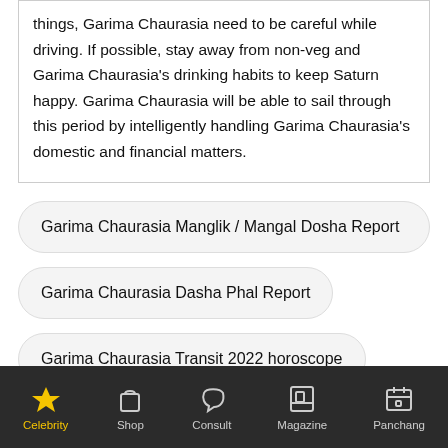things, Garima Chaurasia need to be careful while driving. If possible, stay away from non-veg and Garima Chaurasia's drinking habits to keep Saturn happy. Garima Chaurasia will be able to sail through this period by intelligently handling Garima Chaurasia's domestic and financial matters.
Garima Chaurasia Manglik / Mangal Dosha Report
Garima Chaurasia Dasha Phal Report
Garima Chaurasia Transit 2022 horoscope
Celebrity  Shop  Consult  Magazine  Panchang